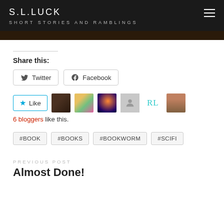S.L.LUCK — SHORT STORIES AND RAMBLINGS
Share this:
Twitter  Facebook
6 bloggers like this.
#BOOK
#BOOKS
#BOOKWORM
#SCIFI
PREVIOUS POST
Almost Done!